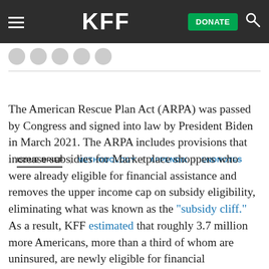KFF | DONATE
ISSUE BRIEF | METHODOLOGY | APPENDIX | ENDNOTES
The American Rescue Plan Act (ARPA) was passed by Congress and signed into law by President Biden in March 2021. The ARPA includes provisions that increase subsidies for Marketplace shoppers who were already eligible for financial assistance and removes the upper income cap on subsidy eligibility, eliminating what was known as the “subsidy cliff.” As a result, KFF estimated that roughly 3.7 million more Americans, more than a third of whom are uninsured, are newly eligible for financial